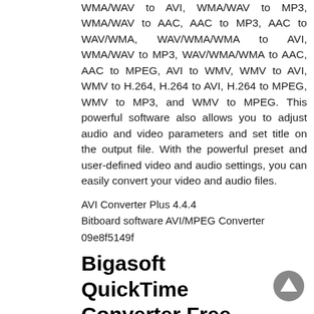WMA/WAV to AVI, WMA/WAV to MP3, WMA/WAV to AAC, AAC to MP3, AAC to WAV/WMA, WAV/WMA/WMA to AVI, WMA/WAV to MP3, WAV/WMA/WMA to AAC, AAC to MPEG, AVI to WMV, WMV to AVI, WMV to H.264, H.264 to AVI, H.264 to MPEG, WMV to MP3, and WMV to MPEG. This powerful software also allows you to adjust audio and video parameters and set title on the output file. With the powerful preset and user-defined video and audio settings, you can easily convert your video and audio files.
AVI Converter Plus 4.4.4
Bitboard software AVI/MPEG Converter
09e8f5149f
Bigasoft QuickTime Converter Free [32|64bit] 2022 [New]